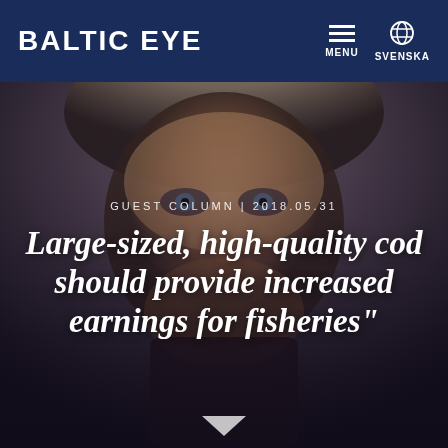BALTIC EYE
[Figure (photo): Close-up portrait photo of a woman's face as background, with dark overlay for text legibility]
GUEST COLUMN | 2018.05.31
Large-sized, high-quality cod should provide increased earnings for fisheries"